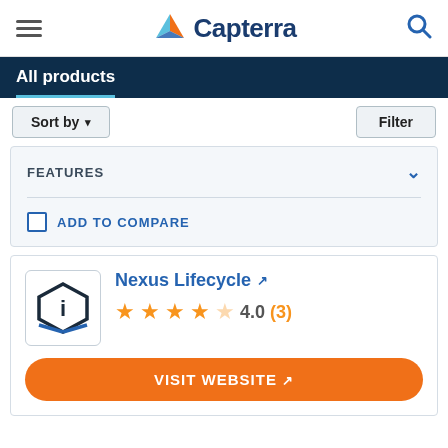Capterra
All products
Sort by  Filter
FEATURES
ADD TO COMPARE
Nexus Lifecycle  4.0 (3)
VISIT WEBSITE